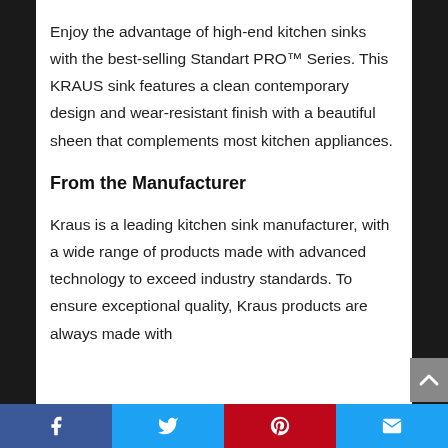Enjoy the advantage of high-end kitchen sinks with the best-selling Standart PRO™ Series. This KRAUS sink features a clean contemporary design and wear-resistant finish with a beautiful sheen that complements most kitchen appliances.
From the Manufacturer
Kraus is a leading kitchen sink manufacturer, with a wide range of products made with advanced technology to exceed industry standards. To ensure exceptional quality, Kraus products are always made with